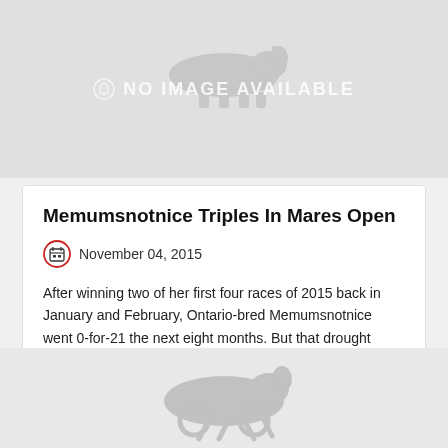[Figure (illustration): Gray placeholder image with 'NO IMAGE AVAILABLE' text and horse silhouette watermark]
Memumsnotnice Triples In Mares Open
November 04, 2015
After winning two of her first four races of 2015 back in January and February, Ontario-bred Memumsnotnice went 0-for-21 the next eight months. But that drought ended in October and now the mare is ri...
[Figure (illustration): Gray placeholder image with harness racing horse and driver silhouette watermark]